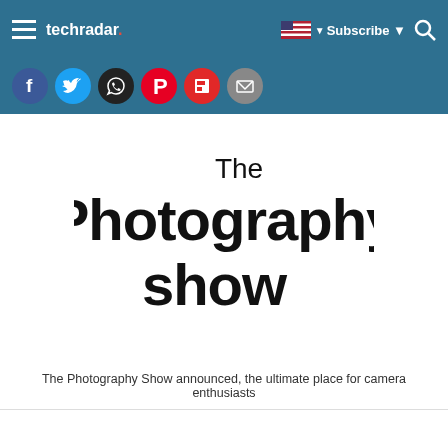techradar
[Figure (logo): The Photography Show logo — bold black text on white background showing 'The Photography show']
The Photography Show announced, the ultimate place for camera enthusiasts